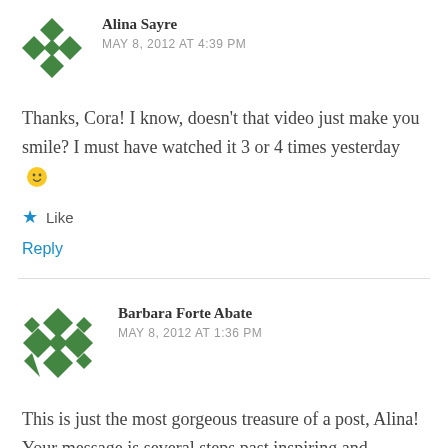[Figure (illustration): Green decorative avatar icon with diamond/cross pattern, small size]
Alina Sayre
MAY 8, 2012 AT 4:39 PM
Thanks, Cora! I know, doesn't that video just make you smile? I must have watched it 3 or 4 times yesterday 🙂
★ Like
Reply
[Figure (illustration): Green decorative avatar icon with diamond/cross pattern, larger size]
Barbara Forte Abate
MAY 8, 2012 AT 1:36 PM
This is just the most gorgeous treasure of a post, Alina! Your message is several steps past inspiring and reading this makes me feel like I've just opened